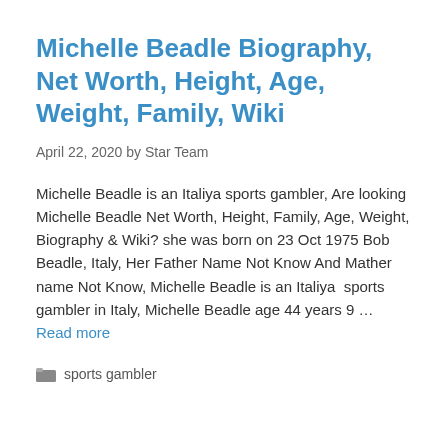Michelle Beadle Biography, Net Worth, Height, Age, Weight, Family, Wiki
April 22, 2020 by Star Team
Michelle Beadle is an Italiya sports gambler, Are looking Michelle Beadle Net Worth, Height, Family, Age, Weight, Biography & Wiki? she was born on 23 Oct 1975 Bob Beadle, Italy, Her Father Name Not Know And Mather name Not Know, Michelle Beadle is an Italiya  sports gambler in Italy, Michelle Beadle age 44 years 9 … Read more
sports gambler